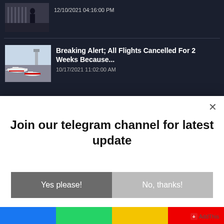12/10/2021 04:16:00 PM
Breaking Alert; All Flights Cancelled For 2 Weeks Because...
10/17/2021 11:02:00 AM
Join our telegram channel for latest update
Yes please!
No, thanks!
AddThis